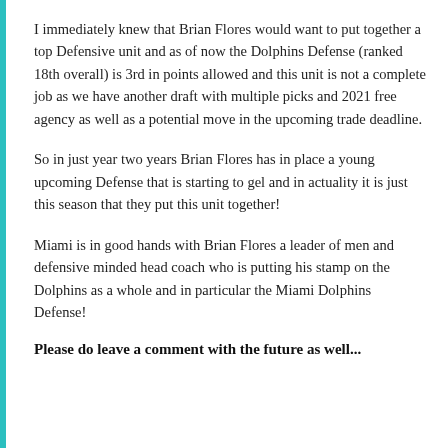I immediately knew that Brian Flores would want to put together a top Defensive unit and as of now the Dolphins Defense (ranked 18th overall) is 3rd in points allowed and this unit is not a complete job as we have another draft with multiple picks and 2021 free agency as well as a potential move in the upcoming trade deadline.
So in just year two years Brian Flores has in place a young upcoming Defense that is starting to gel and in actuality it is just this season that they put this unit together!
Miami is in good hands with Brian Flores a leader of men and defensive minded head coach who is putting his stamp on the Dolphins as a whole and in particular the Miami Dolphins Defense!
Please do leave a comment with the future as well...